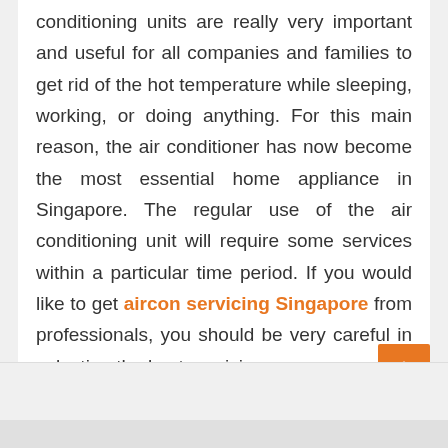conditioning units are really very important and useful for all companies and families to get rid of the hot temperature while sleeping, working, or doing anything. For this main reason, the air conditioner has now become the most essential home appliance in Singapore. The regular use of the air conditioning unit will require some services within a particular time period. If you would like to get aircon servicing Singapore from professionals, you should be very careful in selecting the best servicing company.
read more